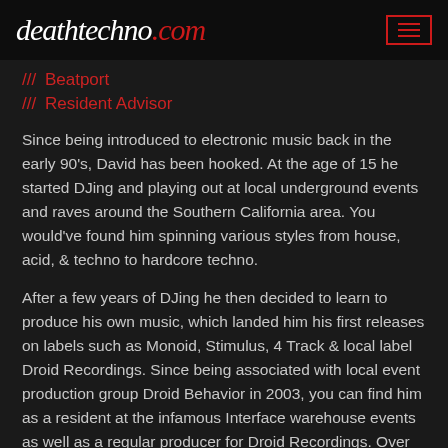deathtechno.com
/// Beatport
/// Resident Advisor
Since being introduced to electronic music back in the early 90's, David has been hooked. At the age of 15 he started DJing and playing out at local underground events and raves around the Southern California area. You would've found him spinning various styles from house, acid, & techno to hardcore techno.
After a few years of DJing he then decided to learn to produce his own music, which landed him his first releases on labels such as Monoid, Stimulus, 4 Track & local label Droid Recordings. Since being associated with local event production group Droid Behavior in 2003, you can find him as a resident at the infamous Interface warehouse events as well as a regular producer for Droid Recordings. Over the years his music has gained worldwide attention and onto the